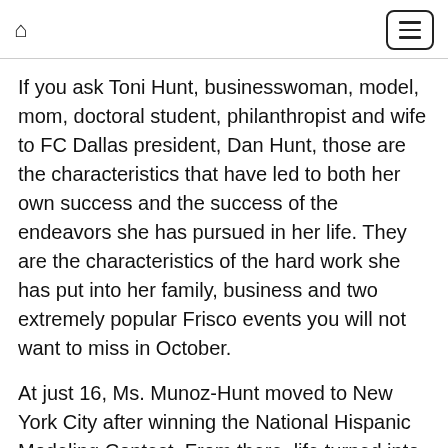Home | Menu
If you ask Toni Hunt, businesswoman, model, mom, doctoral student, philanthropist and wife to FC Dallas president, Dan Hunt, those are the characteristics that have led to both her own success and the success of the endeavors she has pursued in her life. They are the characteristics of the hard work she has put into her family, business and two extremely popular Frisco events you will not want to miss in October.
At just 16, Ms. Munoz-Hunt moved to New York City after winning the National Hispanic Modeling Contest. From there, life turned into a whirlwind success that catapulted her to modeling stardom as she walked the runway for top designers like Oscar de la Renta, Chanel and Roberto Cavalli. She has